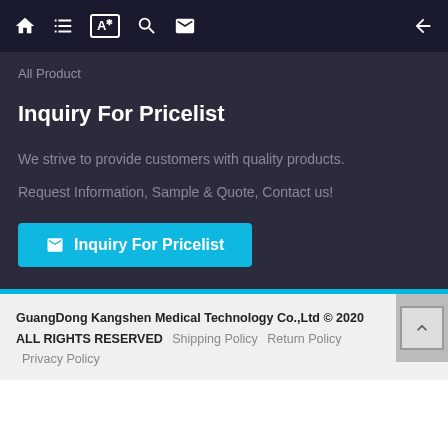Navigation bar with home, list, translate, search, mail icons and back arrow
All Product
Inquiry For Pricelist
We strive to provide customers with quality products.
Request Information, Sample & Quote, Contact us!
Inquiry For Pricelist
GuangDong Kangshen Medical Technology Co.,Ltd © 2020 ALL RIGHTS RESERVED  Shipping Policy  Return Policy  Privacy Policy